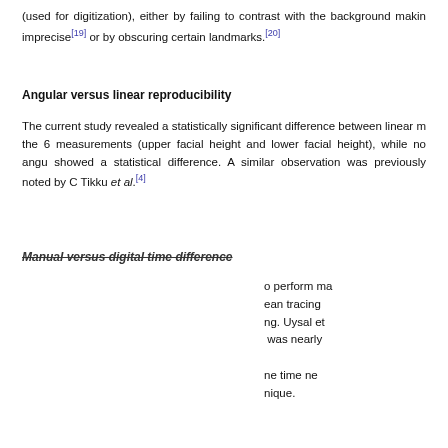(used for digitization), either by failing to contrast with the background making imprecise[19] or by obscuring certain landmarks.[20]
Angular versus linear reproducibility
The current study revealed a statistically significant difference between linear measurements in the 6 measurements (upper facial height and lower facial height), while no angular measurements showed a statistical difference. A similar observation was previously noted by C... Tikku et al.[4]
Manual versus digital time difference
...to perform manual tracing. Uysal et ...was nearly ...the time ne...nique.
This website uses cookies. By continuing to use this website you are giving consent to cookies being used. For information on cookies and how you can disable them visit our Privacy and Cookie Policy.